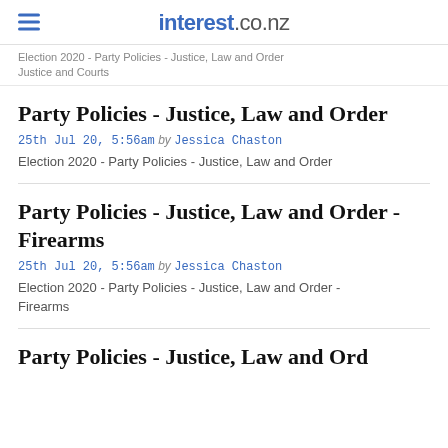interest.co.nz
Election 2020 - Party Policies - Justice, Law and Order Justice and Courts
Party Policies - Justice, Law and Order
25th Jul 20, 5:56am by Jessica Chaston
Election 2020 - Party Policies - Justice, Law and Order
Party Policies - Justice, Law and Order - Firearms
25th Jul 20, 5:56am by Jessica Chaston
Election 2020 - Party Policies - Justice, Law and Order - Firearms
Party Policies - Justice, Law and Ord...